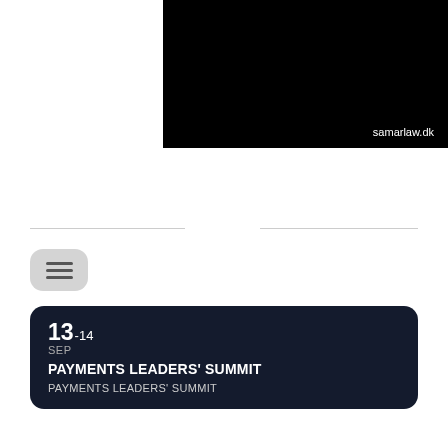[Figure (screenshot): Black rectangle image with 'samarlaw.dk' text in white at bottom right]
[Figure (screenshot): Menu/hamburger button icon (three horizontal lines) with rounded rectangle background]
13-14 SEP PAYMENTS LEADERS' SUMMIT PAYMENTS LEADERS' SUMMIT
22-23 SEP CRYPTO GIBRALTAR CRYPTO GIBRALTAR
23-24 SEP